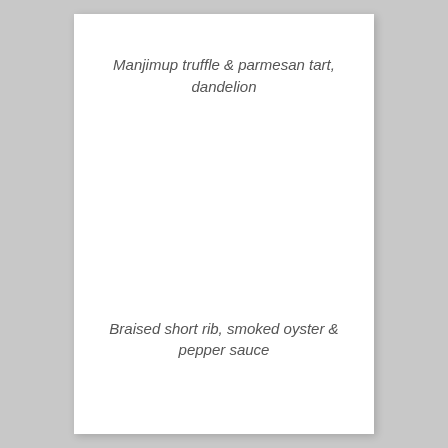Manjimup truffle & parmesan tart, dandelion
Braised short rib, smoked oyster & pepper sauce